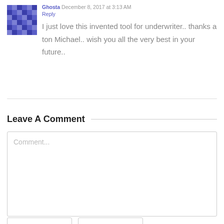[Figure (illustration): Avatar/gravatar image with blue pixel/mosaic pattern]
December 8, 2017 at 3:13 AM
Reply
I just love this invented tool for underwriter.. thanks a ton Michael.. wish you all the very best in your future..
Leave A Comment
Comment...